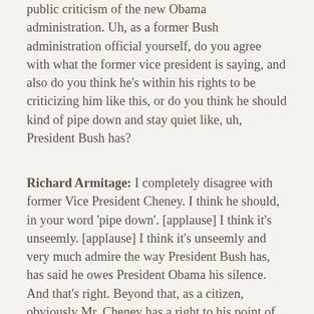public criticism of the new Obama administration. Uh, as a former Bush administration official yourself, do you agree with what the former vice president is saying, and also do you think he's within his rights to be criticizing him like this, or do you think he should kind of pipe down and stay quiet like, uh, President Bush has?
Richard Armitage: I completely disagree with former Vice President Cheney. I think he should, in your word 'pipe down'. [applause] I think it's unseemly. [applause] I think it's unseemly and very much admire the way President Bush has, has said he owes President Obama his silence. And that's right. Beyond that, as a citizen, obviously Mr. Cheney has a right to his point of view, but I think the, the